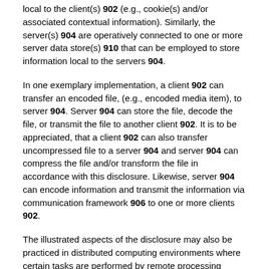local to the client(s) 902 (e.g., cookie(s) and/or associated contextual information). Similarly, the server(s) 904 are operatively connected to one or more server data store(s) 910 that can be employed to store information local to the servers 904.
In one exemplary implementation, a client 902 can transfer an encoded file, (e.g., encoded media item), to server 904. Server 904 can store the file, decode the file, or transmit the file to another client 902. It is to be appreciated, that a client 902 can also transfer uncompressed file to a server 904 and server 904 can compress the file and/or transform the file in accordance with this disclosure. Likewise, server 904 can encode information and transmit the information via communication framework 906 to one or more clients 902.
The illustrated aspects of the disclosure may also be practiced in distributed computing environments where certain tasks are performed by remote processing devices that are linked through a communications network. In a distributed computing environment, program modules can be located in both local and remote memory storage